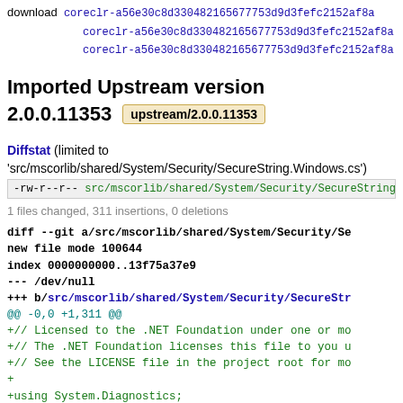download   coreclr-a56e30c8d330482165677753d9d3fefc2152af8a
coreclr-a56e30c8d330482165677753d9d3fefc2152af8a
coreclr-a56e30c8d330482165677753d9d3fefc2152af8a
Imported Upstream version
2.0.0.11353  upstream/2.0.0.11353
Diffstat (limited to 'src/mscorlib/shared/System/Security/SecureString.Windows.cs')
-rw-r--r--  src/mscorlib/shared/System/Security/SecureString.Windows...
1 files changed, 311 insertions, 0 deletions
diff --git a/src/mscorlib/shared/System/Security/Se
new file mode 100644
index 0000000000..13f75a37e9
--- /dev/null
+++ b/src/mscorlib/shared/System/Security/SecureStr
@@ -0,0 +1,311 @@
+// Licensed to the .NET Foundation under one or mo
+// The .NET Foundation licenses this file to you u
+// See the LICENSE file in the project root for mo
+
+using System.Diagnostics;
+using System.Runtime.InteropServices;
+using System.Security.Cryptography;
+using Microsoft.Win32;
+
+namespace System.Security;